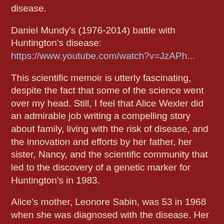disease.
Daniel Mundy's (1976-2014) battle with Huntington's disease:
https://www.youtube.com/watch?v=JzAPh...
This scientific memoir is utterly fascinating, despite the fact that some of the science went over my head. Still, I feel that Alice Wexler did an admirable job writing a compelling story about family, living with the risk of disease, and the innovation and efforts by her father, her sister, Nancy, and the scientific community that led to the discovery of a genetic marker for Huntington's in 1983.
Alice's mother, Leonore Sabin, was 53 in 1968 when she was diagnosed with the disease. Her father and three brothers had already died. Her husband, Milton, started the Hereditary Disease Foundation, and dedicated his efforts to inspiring researchers and caring for his sick ex-wife.
Nancy's work with the foundation took her to the fishing villages near Lake Maracaibo in Venezuela, where about 1 in